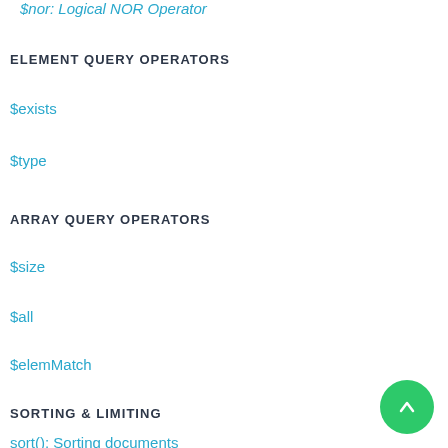$nor: Logical NOR Operator
ELEMENT QUERY OPERATORS
$exists
$type
ARRAY QUERY OPERATORS
$size
$all
$elemMatch
SORTING & LIMITING
sort(): Sorting documents